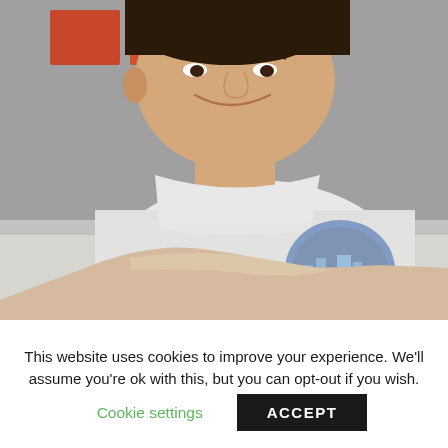[Figure (photo): A young man in a white t-shirt with a blue circular graphic sits at a desk with his hands folded, smiling slightly. Behind him are orange artworks on a gray wall.]
This website uses cookies to improve your experience. We'll assume you're ok with this, but you can opt-out if you wish.
Cookie settings
ACCEPT